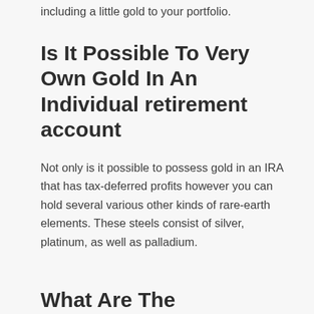including a little gold to your portfolio.
Is It Possible To Very Own Gold In An Individual retirement account
Not only is it possible to possess gold in an IRA that has tax-deferred profits however you can hold several various other kinds of rare-earth elements. These steels consist of silver, platinum, as well as palladium.
What Are The Information Of A Gold